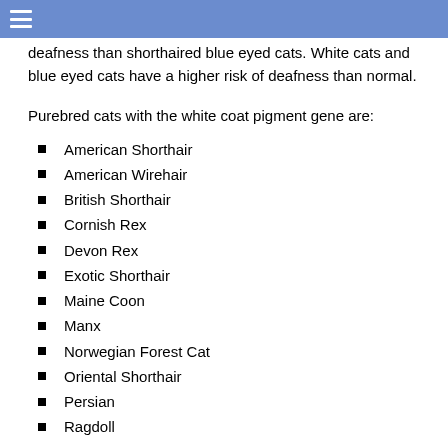☰
deafness than shorthaired blue eyed cats. White cats and blue eyed cats have a higher risk of deafness than normal.
Purebred cats with the white coat pigment gene are:
American Shorthair
American Wirehair
British Shorthair
Cornish Rex
Devon Rex
Exotic Shorthair
Maine Coon
Manx
Norwegian Forest Cat
Oriental Shorthair
Persian
Ragdoll